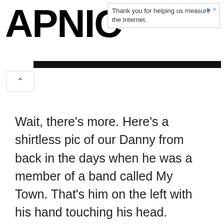APNIC
Thank you for helping us measure the Internet.
Wait, there’s more. Here’s a shirtless pic of our Danny from back in the days when he was a member of a band called My Town. That’s him on the left with his hand touching his head.